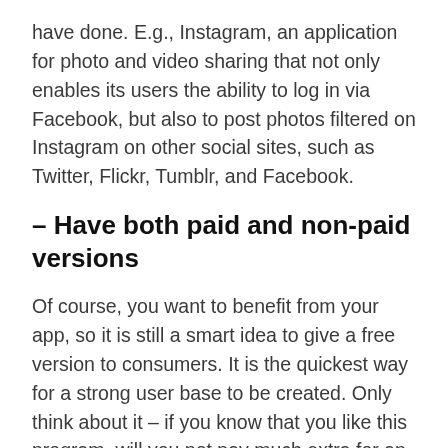have done. E.g., Instagram, an application for photo and video sharing that not only enables its users the ability to log in via Facebook, but also to post photos filtered on Instagram on other social sites, such as Twitter, Flickr, Tumblr, and Facebook.
– Have both paid and non-paid versions
Of course, you want to benefit from your app, so it is still a smart idea to give a free version to consumers. It is the quickest way for a strong user base to be created. Only think about it – if you know that you like this program, will you not pay much extra for an app or pay for unique features? You can either start the two versions